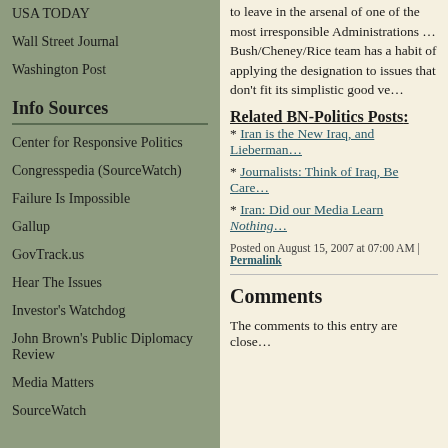USA TODAY
Wall Street Journal
Washington Post
Info Sources
Center for Responsive Politics
Congresspedia (SourceWatch)
Failure Is Impossible
Gallup
GovTrack.us
Hear The Issues
Investor's Watchdog
John Brown's Public Diplomacy Review
Media Matters
SourceWatch
to leave in the arsenal of one of the most irresponsible Administrations … Bush/Cheney/Rice team has a habit of applying the designation to issues that don't fit its simplistic good ve…
Related BN-Politics Posts:
Iran is the New Iraq, and Lieberman…
Journalists: Think of Iraq, Be Care…
Iran: Did our Media Learn Nothing…
Posted on August 15, 2007 at 07:00 AM | Permalink
Comments
The comments to this entry are close…